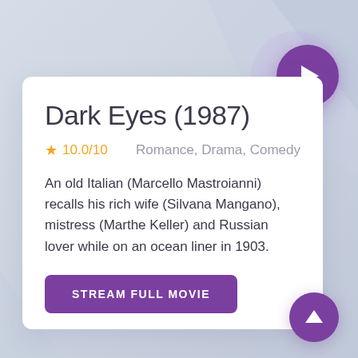Dark Eyes (1987)
★ 10.0/10    Romance, Drama, Comedy
An old Italian (Marcello Mastroianni) recalls his rich wife (Silvana Mangano), mistress (Marthe Keller) and Russian lover while on an ocean liner in 1903.
STREAM FULL MOVIE